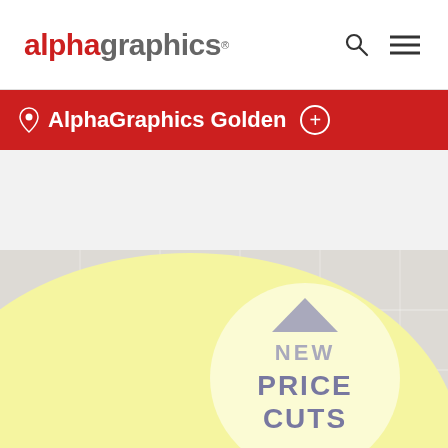alphagraphics®
AlphaGraphics Golden
[Figure (photo): Yellow semicircular floor decal with 'NEW PRICE CUTS' text and upward arrow, photographed on light gray tile floor]